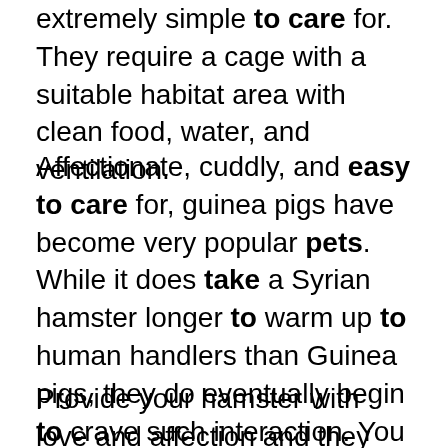extremely simple to care for. They require a cage with a suitable habitat area with clean food, water, and ventilation.
Affectionate, cuddly, and easy to care for, guinea pigs have become very popular pets. While it does take a Syrian hamster longer to warm up to human handlers than Guinea pigs, they do eventually begin to crave such interaction. You must clean the cage on a regular basis, but sometimes you may even forget they are there (except for in the middle of the night, as that is when they are the most active).
Provide your hamster with love and affection and they will become a truly affectionate pet that requires minimal effort. It should be